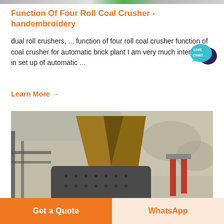[Figure (photo): Top image strip showing industrial/mining equipment thumbnails]
Function Of Four Roll Coal Crusher - handembroidery
dual roll crushers, ... function of four roll coal crusher function of coal crusher for automatic brick plant I am very much interested in set up of automatic ...
Learn More →
[Figure (photo): Industrial coal crusher / jaw crusher machine at a mining site with rocky terrain in the background. Large metal crusher with wooden/metal chute feeding material.]
[Figure (other): Live Chat badge - circular teal/blue speech bubble icon with LIVE CHAT text]
Get a Quote | WhatsApp